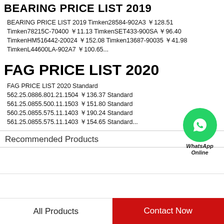BEARING PRICE LIST 2019
BEARING PRICE LIST 2019 Timken28584-902A3 ￥128.51 Timken78215C-70400 ￥11.13 TimkenSET433-900SA ￥96.40 TimkenHM516442-20024 ￥152.08 Timken13687-90035 ￥41.98 TimkenL44600LA-902A7 ￥100.65...
FAG PRICE LIST 2020
FAG PRICE LIST 2020 Standard 562.25.0886.801.21.1504 ￥136.37 Standard 561.25.0855.500.11.1503 ￥151.80 Standard 560.25.0855.575.11.1403 ￥190.24 Standard 561.25.0855.575.11.1403 ￥154.65 Standard...
[Figure (logo): WhatsApp Online green circle badge with phone icon and text 'WhatsApp Online']
Recommended Products
All Products
Contact Now